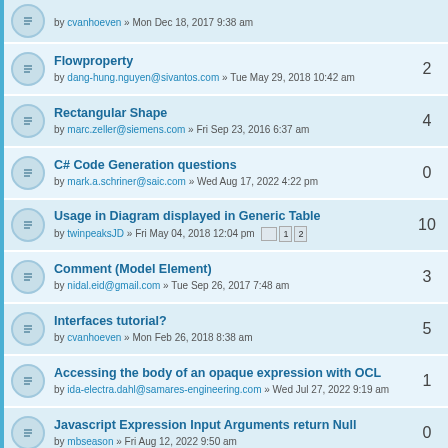Flowproperty — by dang-hung.nguyen@sivantos.com » Tue May 29, 2018 10:42 am — 2 replies
Rectangular Shape — by marc.zeller@siemens.com » Fri Sep 23, 2016 6:37 am — 4 replies
C# Code Generation questions — by mark.a.schriner@saic.com » Wed Aug 17, 2022 4:22 pm — 0 replies
Usage in Diagram displayed in Generic Table — by twinpeaksJD » Fri May 04, 2018 12:04 pm — 10 replies
Comment (Model Element) — by nidal.eid@gmail.com » Tue Sep 26, 2017 7:48 am — 3 replies
Interfaces tutorial? — by cvanhoeven » Mon Feb 26, 2018 8:38 am — 5 replies
Accessing the body of an opaque expression with OCL — by ida-electra.dahl@samares-engineering.com » Wed Jul 27, 2022 9:19 am — 1 reply
Javascript Expression Input Arguments return Null — by mbseason » Fri Aug 12, 2022 9:50 am — 0 replies
Deep copy package programmatically — by licenses@archimedes-exhibitions.de » Tue Aug 09, 2022 2:06 — 1 reply